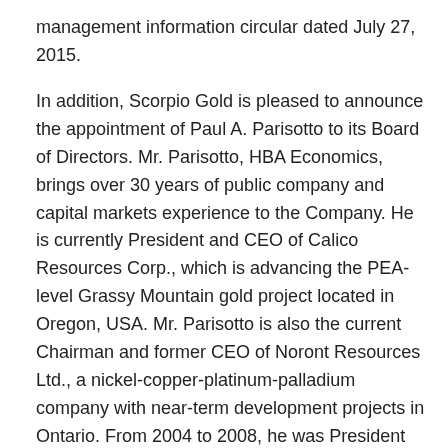management information circular dated July 27, 2015.
In addition, Scorpio Gold is pleased to announce the appointment of Paul A. Parisotto to its Board of Directors. Mr. Parisotto, HBA Economics, brings over 30 years of public company and capital markets experience to the Company. He is currently President and CEO of Calico Resources Corp., which is advancing the PEA-level Grassy Mountain gold project located in Oregon, USA. Mr. Parisotto is also the current Chairman and former CEO of Noront Resources Ltd., a nickel-copper-platinum-palladium company with near-term development projects in Ontario. From 2004 to 2008, he was President and CEO of Arizona Star Resource Corp., leading the sale of that company to Barrick Gold Corporation in December 2007 for $773 million. Earlier in his career, Paul built and headed up the mining corporate finance business for a Canadian investment dealer, prior to which he served as the Manager, Original Listing, at the